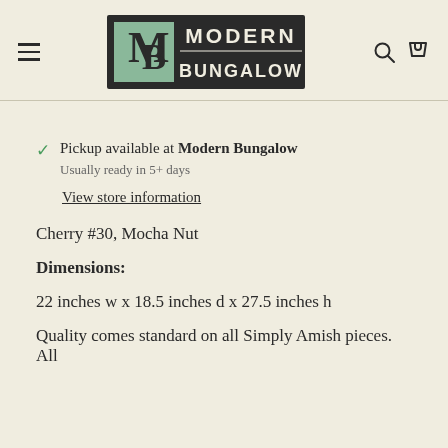Modern Bungalow
Pickup available at Modern Bungalow
Usually ready in 5+ days
View store information
Cherry #30, Mocha Nut
Dimensions:
22 inches w x 18.5 inches d x 27.5 inches h
Quality comes standard on all Simply Amish pieces. All